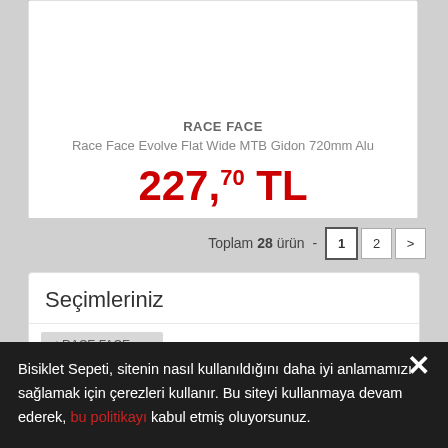RACE FACE
Race Face Evolve Flat Wide MTB Gidon 720mm Alu
227,70 TL
Toplam 28 ürün - 1 2 >
Seçimleriniz
RACE FACE  x
Bisiklet Sepeti, sitenin nasıl kullanıldığını daha iyi anlamamızı sağlamak için çerezleri kullanır. Bu siteyi kullanmaya devam ederek, bu politikayı kabul etmiş oluyorsunuz.
MTB Grup Set
Amortisor Servis Kitleri